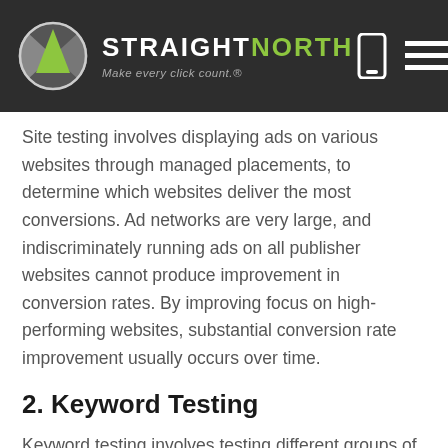STRAIGHT NORTH — Make every click count.®
Site testing involves displaying ads on various websites through managed placements, to determine which websites deliver the most conversions. Ad networks are very large, and indiscriminately running ads on all publisher websites cannot produce improvement in conversion rates. By improving focus on high-performing websites, substantial conversion rate improvement usually occurs over time.
2. Keyword Testing
Keyword testing involves testing different groups of keywords to see which have the best ad performance. An ad group in a contextual display